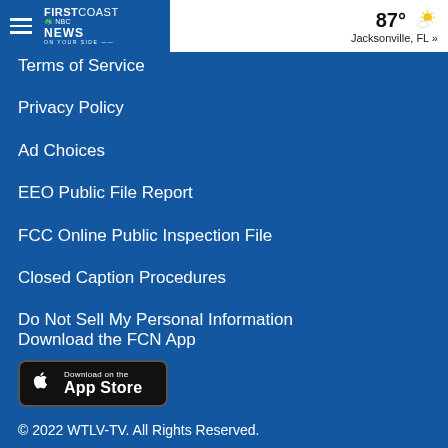FIRSTCOAST NEWS — 87° Jacksonville, FL »
Terms of Service
Privacy Policy
Ad Choices
EEO Public File Report
FCC Online Public Inspection File
Closed Caption Procedures
Do Not Sell My Personal Information
Download the FCN App
[Figure (screenshot): Download on the App Store badge (black rounded rectangle with Apple logo)]
© 2022 WTLV-TV. All Rights Reserved.